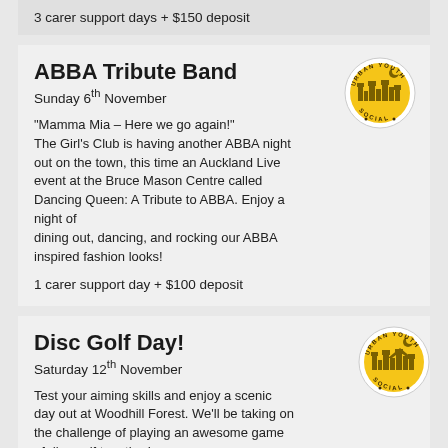3 carer support days + $150 deposit
ABBA Tribute Band
Sunday 6th November
"Mamma Mia – Here we go again!" The Girl's Club is having another ABBA night out on the town, this time an Auckland Live event at the Bruce Mason Centre called Dancing Queen: A Tribute to ABBA. Enjoy a night of dining out, dancing, and rocking our ABBA inspired fashion looks!
1 carer support day + $100 deposit
Disc Golf Day!
Saturday 12th November
Test your aiming skills and enjoy a scenic day out at Woodhill Forest. We'll be taking on the challenge of playing an awesome game of disc golf together!